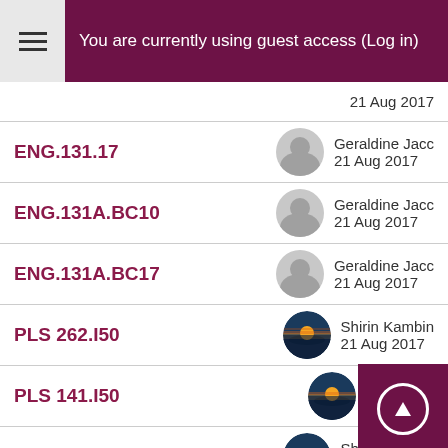You are currently using guest access (Log in)
ENG.131.17 | Geraldine Jaco | 21 Aug 2017
ENG.131A.BC10 | Geraldine Jaco | 21 Aug 2017
ENG.131A.BC17 | Geraldine Jaco | 21 Aug 2017
PLS 262.I50 | Shirin Kambin | 21 Aug 2017
PLS 141.I50 | Shirin Ka | 21 Aug 20
PLS 141.H81 | Shirin Kambin | 21 Aug 2017